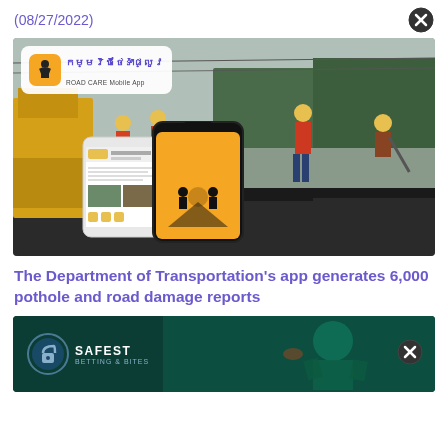(08/27/2022)
[Figure (photo): Road Care Mobile App promotional image showing smartphone app interface overlaid on a photo of road workers paving a road with heavy equipment, wearing yellow hard hats and orange vests.]
The Department of Transportation's app generates 6,000 pothole and road damage reports
[Figure (photo): Safest Betting & Bites advertisement banner with dark teal background showing a football player and a close button.]